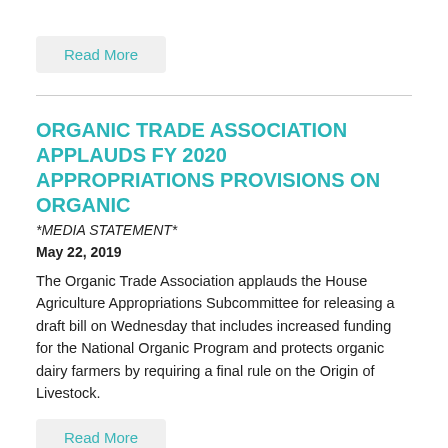Read More
ORGANIC TRADE ASSOCIATION APPLAUDS FY 2020 APPROPRIATIONS PROVISIONS ON ORGANIC
*MEDIA STATEMENT*
May 22, 2019
The Organic Trade Association applauds the House Agriculture Appropriations Subcommittee for releasing a draft bill on Wednesday that includes increased funding for the National Organic Program and protects organic dairy farmers by requiring a final rule on the Origin of Livestock.
Read More